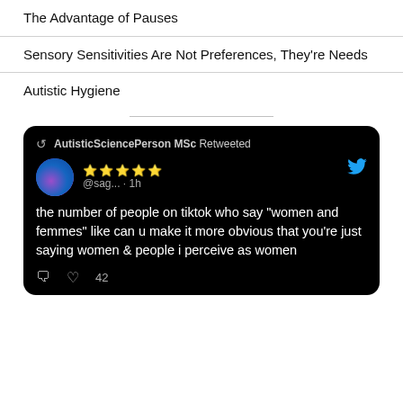The Advantage of Pauses
Sensory Sensitivities Are Not Preferences, They're Needs
Autistic Hygiene
[Figure (screenshot): A Twitter/X screenshot on a black background showing a retweet by AutisticSciencePerson MSc. The original tweet is from @sag... posted 1 hour ago. The tweet text reads: 'the number of people on tiktok who say "women and femmes" like can u make it more obvious that you're just saying women & people i perceive as women'. Below shows a comment icon and a heart icon with 42 likes.]